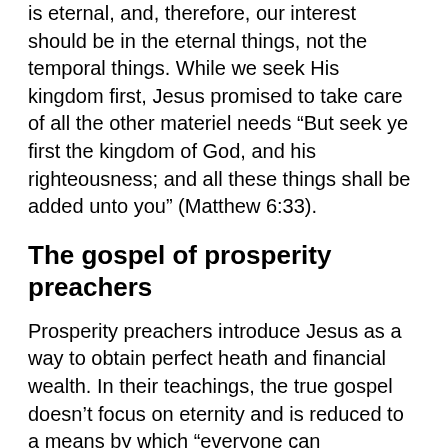is eternal, and, therefore, our interest should be in the eternal things, not the temporal things. While we seek His kingdom first, Jesus promised to take care of all the other materiel needs “But seek ye first the kingdom of God, and his righteousness; and all these things shall be added unto you” (Matthew 6:33).
The gospel of prosperity preachers
Prosperity preachers introduce Jesus as a way to obtain perfect heath and financial wealth. In their teachings, the true gospel doesn’t focus on eternity and is reduced to a means by which “everyone can experience his or her best life now.”
Prosperity preaching becomes an attempt to